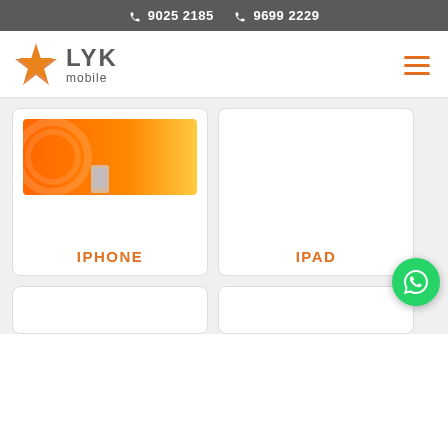☎ 9025 2185  ☎ 96992229
[Figure (logo): LYK Mobile logo with orange star/flower icon and grey LYK mobile text]
[Figure (illustration): iPhone product card with orange gradient banner image and IPHONE label]
[Figure (illustration): iPad product card with IPAD label]
[Figure (illustration): Partial product card bottom row left]
[Figure (illustration): Partial product card bottom row right]